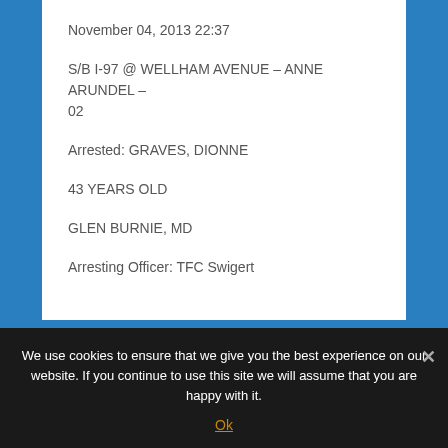November 04, 2013 22:37
S/B I-97 @ WELLHAM AVENUE – ANNE ARUNDEL – 02
Arrested: GRAVES, DIONNE
43 YEARS OLD
GLEN BURNIE, MD
Arresting Officer: TFC Swigert
We use cookies to ensure that we give you the best experience on our website. If you continue to use this site we will assume that you are happy with it.
Ok